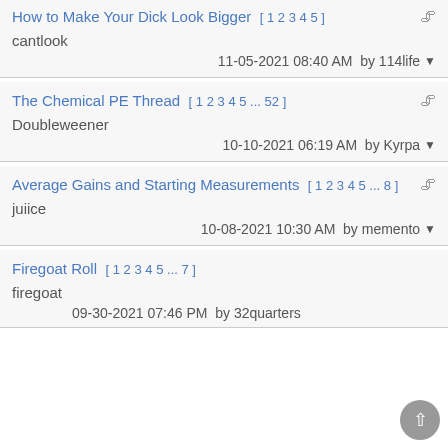How to Make Your Dick Look Bigger [ 1 2 3 4 5 ] | cantlook | 11-05-2021 08:40 AM by 114life
The Chemical PE Thread [ 1 2 3 4 5 ... 52 ] | Doubleweener | 10-10-2021 06:19 AM by Kyrpa
Average Gains and Starting Measurements [ 1 2 3 4 5 ... 8 ] | juiice | 10-08-2021 10:30 AM by memento
Firegoat Roll [ 1 2 3 4 5 ... 7 ] | firegoat | 09-30-2021 07:46 PM by 32quarters